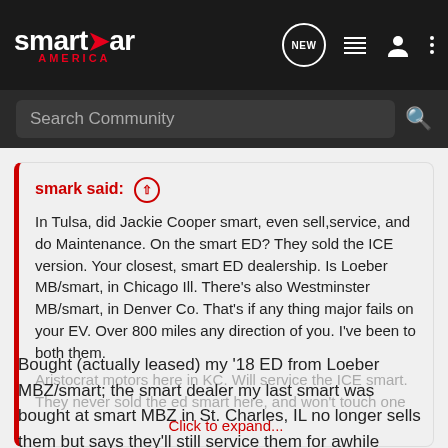smart car AMERICA - NEW
Search Community
smark said: ↑ In Tulsa, did Jackie Cooper smart, even sell,service, and do Maintenance. On the smart ED? They sold the ICE version. Your closest, smart ED dealership. Is Loeber MB/smart, in Chicago Ill. There's also Westminster MB/smart, in Denver Co. That's if any thing major fails on your EV. Over 800 miles any direction of you. I've been to both them. Aristocrat motors here in KC. Will service the ICE smart. They never sold the ed smart here, and won't touch one Click to expand...
Bought (actually leased) my '18 ED from Loeber MBZ/smart; the smart dealer my last smart was bought at smart MBZ in St. Charles, IL no longer sells them but says they'll still service them for awhile anyway - as Loeber is much closer to downtown Chicago they still feel they have enough potential